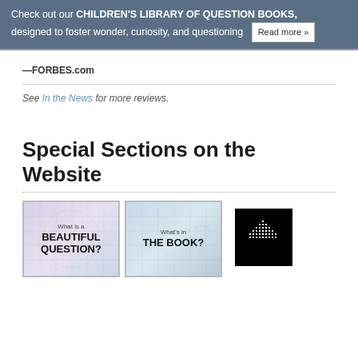Check out our CHILDREN'S LIBRARY OF QUESTION BOOKS, designed to foster wonder, curiosity, and questioning  Read more »
—FORBES.com
See In the News for more reviews.
Special Sections on the Website
[Figure (illustration): Thumbnail image: What is a BEAUTIFUL QUESTION? with purple/blue grid background]
[Figure (illustration): Thumbnail image: What's in THE BOOK? with blue grid background and large question mark]
[Figure (illustration): Small black square with white dot pattern, possibly a logo or icon]